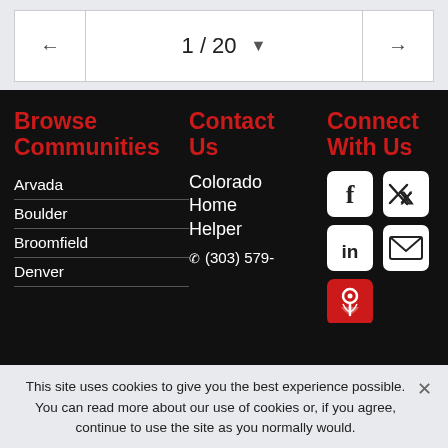← 1 / 20 ▼ →
Browse Communities
Arvada
Boulder
Broomfield
Denver
Contact Us
Colorado Home Helper
(303) 579-
Connect With Us
[Figure (infographic): Social media icons: Facebook, Twitter, LinkedIn, Email, Location pin]
This site uses cookies to give you the best experience possible. You can read more about our use of cookies or, if you agree, continue to use the site as you normally would.